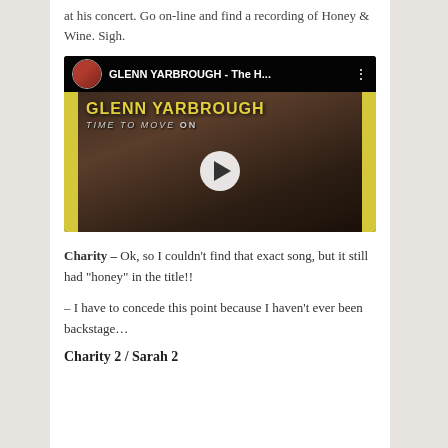at his concert. Go on-line and find a recording of Honey & Wine. Sigh.
[Figure (screenshot): Embedded YouTube video thumbnail for 'GLENN YARBROUGH - The H...' showing album art with text 'GLENN YARBROUGH TIME TO MOVE ON' and a play button in the center.]
Charity – Ok, so I couldn’t find that exact song, but it still had “honey” in the title!!
– I have to concede this point because I haven’t ever been backstage…
Charity 2 / Sarah 2